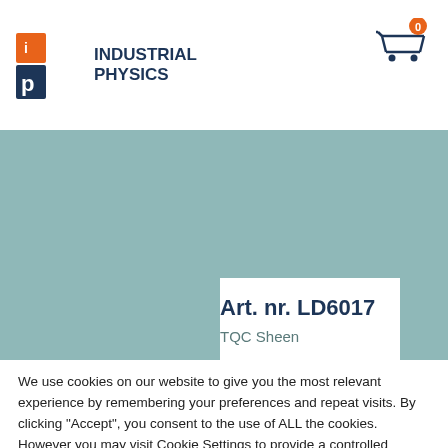Industrial Physics
[Figure (logo): Industrial Physics logo with orange 'ip' icon and dark blue text]
[Figure (screenshot): Shopping cart icon with orange badge showing 0]
[Figure (photo): Teal background product section with white image placeholder card]
Art. nr. LD6017
TQC Sheen
We use cookies on our website to give you the most relevant experience by remembering your preferences and repeat visits. By clicking “Accept”, you consent to the use of ALL the cookies. However you may visit Cookie Settings to provide a controlled consent.
Cookie settings
ACCEPT ALL